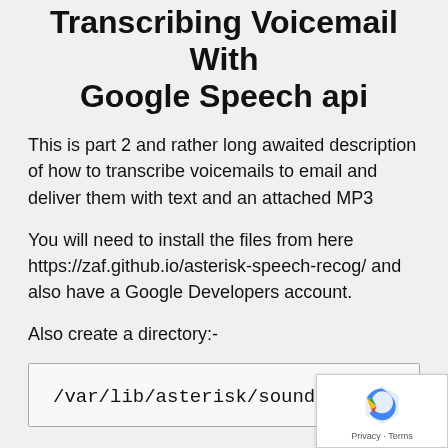Transcribing Voicemail With Google Speech api
This is part 2 and rather long awaited description of how to transcribe voicemails to email and deliver them with text and an attached MP3
You will need to install the files from here https://zaf.github.io/asterisk-speech-recog/ and also have a Google Developers account.
Also create a directory:-
/var/lib/asterisk/sounds/catline